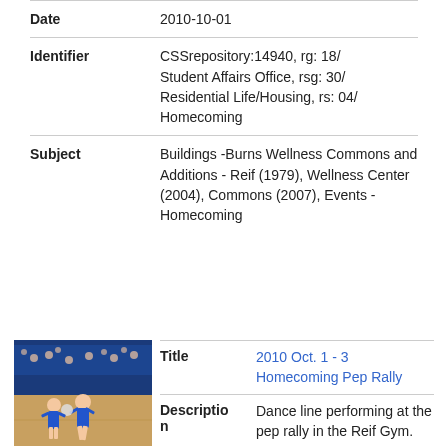| Field | Value |
| --- | --- |
| Date | 2010-10-01 |
| Identifier | CSSrepository:14940, rg: 18/
Student Affairs Office, rsg: 30/
Residential Life/Housing, rs: 04/
Homecoming |
| Subject | Buildings -Burns Wellness Commons and Additions - Reif (1979), Wellness Center (2004), Commons (2007), Events - Homecoming |
[Figure (photo): Photo of a dance line performer in blue costume at a pep rally in the Reif Gym.]
| Field | Value |
| --- | --- |
| Title | 2010 Oct. 1 - 3 Homecoming Pep Rally |
| Description | Dance line performing at the pep rally in the Reif Gym. |
| Date | 2010-10-01 |